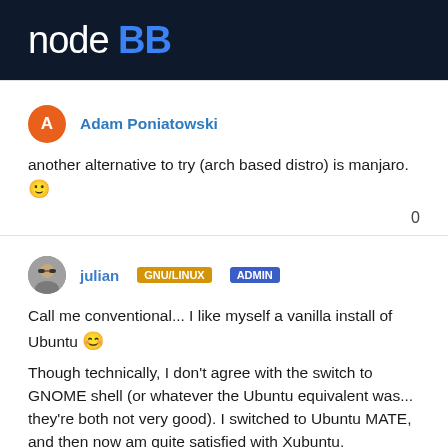nodeBB
Adam Poniatowski
another alternative to try (arch based distro) is manjaro. 🙂
0
julian GNU/LINUX ADMIN
Call me conventional... I like myself a vanilla install of Ubuntu 😊
Though technically, I don't agree with the switch to GNOME shell (or whatever the Ubuntu equivalent was... they're both not very good). I switched to Ubuntu MATE, and then now am quite satisfied with Xubuntu.